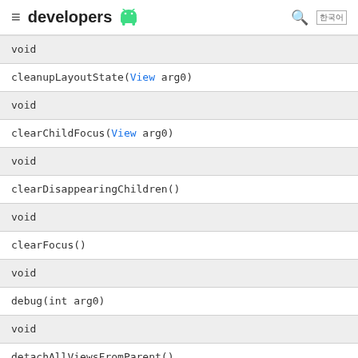developers [Android logo]
| void |
| cleanupLayoutState(View arg0) |
| void |
| clearChildFocus(View arg0) |
| void |
| clearDisappearingChildren() |
| void |
| clearFocus() |
| void |
| debug(int arg0) |
| void |
| detachAllViewsFromParent() |
| void |
| detachViewFromParent(int arg0) |